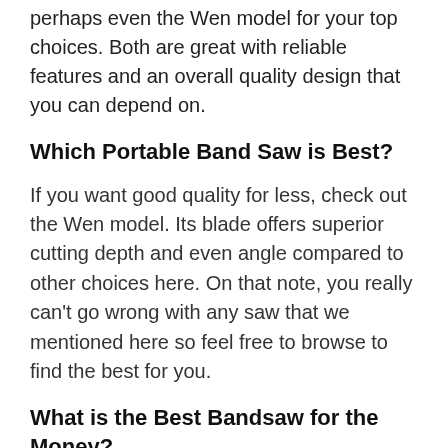perhaps even the Wen model for your top choices. Both are great with reliable features and an overall quality design that you can depend on.
Which Portable Band Saw is Best?
If you want good quality for less, check out the Wen model. Its blade offers superior cutting depth and even angle compared to other choices here. On that note, you really can't go wrong with any saw that we mentioned here so feel free to browse to find the best for you.
What is the Best Bandsaw for the Money?